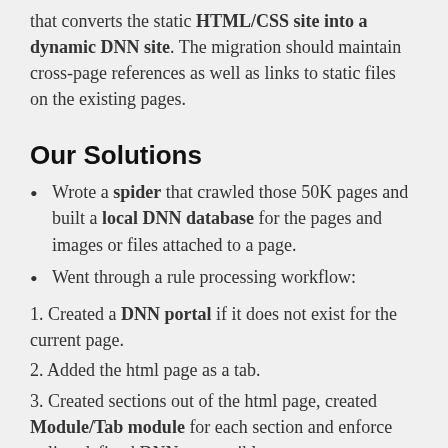that converts the static HTML/CSS site into a dynamic DNN site. The migration should maintain cross-page references as well as links to static files on the existing pages.
Our Solutions
Wrote a spider that crawled those 50K pages and built a local DNN database for the pages and images or files attached to a page.
Went through a rule processing workflow:
1. Created a DNN portal if it does not exist for the current page.
2. Added the html page as a tab.
3. Created sections out of the html page, created Module/Tab module for each section and enforce policy-defined DNN-compatible access